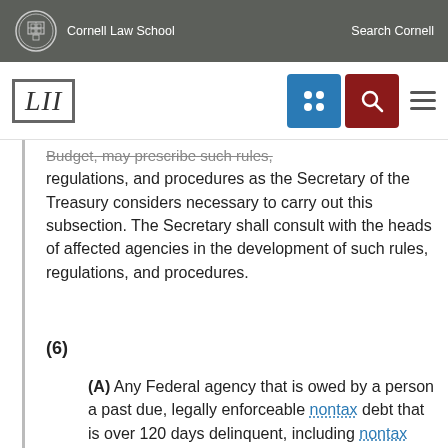Cornell Law School | Search Cornell
[Figure (logo): LII Legal Information Institute logo with Cornell Law School branding, navigation icons (blue grid icon, red search icon), and hamburger menu]
Budget, may prescribe such rules, regulations, and procedures as the Secretary of the Treasury considers necessary to carry out this subsection. The Secretary shall consult with the heads of affected agencies in the development of such rules, regulations, and procedures.
(6)
(A) Any Federal agency that is owed by a person a past due, legally enforceable nontax debt that is over 120 days delinquent, including nontax debt